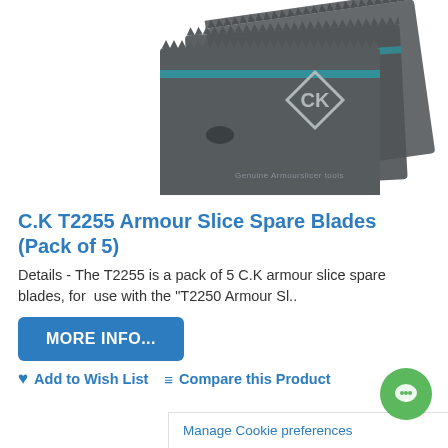[Figure (photo): Three overlapping dark metal C.K branded armour slice blades with serrated top edges and CK logo diamond on the face, shown fanned out on white background. Text 'Genuine Armourslicer tools' visible.]
C.K T2255 Armour Slice Spare Blades (Pack of 5)
Details - The T2255 is a pack of 5 C.K armour slice spare blades, for  use with the "T2250 Armour Sl..
MORE INFO...
❤ Add to Wish List  ☰ Compare this Product
Manage Cookie preferences